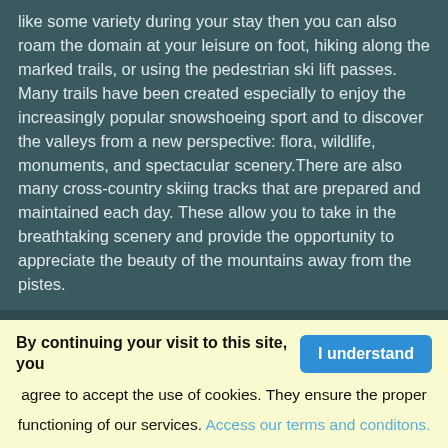like some variety during your stay then you can also roam the domain at your leisure on foot, hiking along the marked trails, or using the pedestrian ski lift passes. Many trails have been created especially to enjoy the increasingly popular snowshoeing sport and to discover the valleys from a new perspective: flora, wildlife, monuments, and spectacular scenery.There are also many cross-country skiing tracks that are prepared and maintained each day. These allow you to take in the breathtaking scenery and provide the opportunity to appreciate the beauty of the mountains away from the pistes.
An interesting and wonderful area all year round, there is much more here than the snow sports.
YOUR AGENTS
[Figure (photo): Three landscape photos partially visible at the bottom of the page — mountains, green valley, and a light-toned image.]
By continuing your visit to this site, you agree to accept the use of cookies. They ensure the proper functioning of our services. Access our terms and conditons.